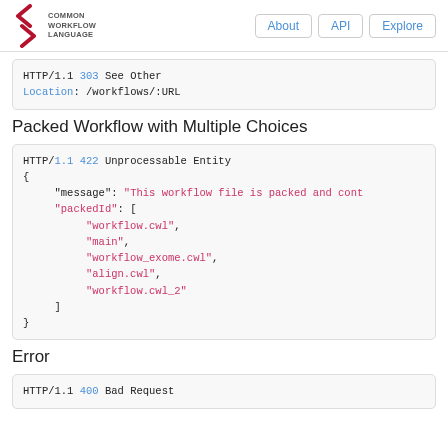COMMON WORKFLOW LANGUAGE | About | API | Explore
[Figure (screenshot): Code block showing HTTP/1.1 303 See Other with Location: /workflows/:URL]
Packed Workflow with Multiple Choices
[Figure (screenshot): Code block showing HTTP/1.1 422 Unprocessable Entity with JSON body containing message and packedId array]
Error
[Figure (screenshot): Code block showing HTTP/1.1 400 Bad Request]